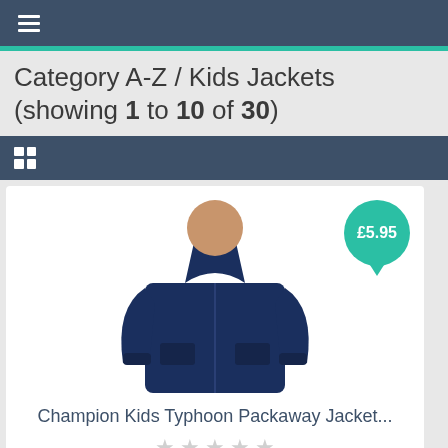Category A-Z / Kids Jackets (showing 1 to 10 of 30)
[Figure (screenshot): Navigation toolbar with grid/list view toggle icons on dark blue background]
[Figure (photo): Product photo of a child wearing a navy blue Champion Kids Typhoon Packaway Jacket with price bubble showing £5.95]
Champion Kids Typhoon Packaway Jacket...
Review This Product